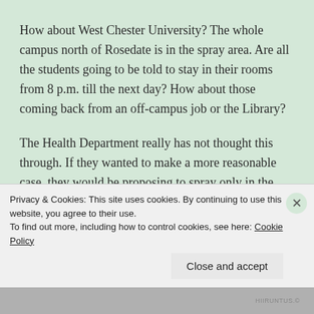How about West Chester University? The whole campus north of Rosedate is in the spray area. Are all the students going to be told to stay in their rooms from 8 p.m. till the next day? How about those coming back from an off-campus job or the Library?
The Health Department really has not thought this through. If they wanted to make a more reasonable case, they would be proposing to spray only in the immediate vicinity of what are apparently the 3 trap sites with high readings: College Ave at the pumping station, Green...
Privacy & Cookies: This site uses cookies. By continuing to use this website, you agree to their use.
To find out more, including how to control cookies, see here: Cookie Policy